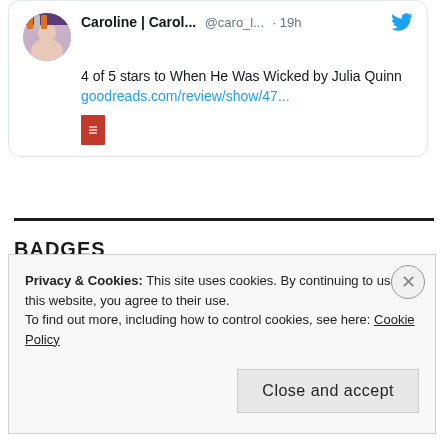[Figure (screenshot): Tweet card from @caro_l... 19h: '4 of 5 stars to When He Was Wicked by Julia Quinn' with a goodreads.com/review/show/47... link and a book thumbnail preview. Twitter bird icon top right.]
BADGES
[Figure (illustration): Partial orange/peach circle badge shape, top arc visible]
Privacy & Cookies: This site uses cookies. By continuing to use this website, you agree to their use.
To find out more, including how to control cookies, see here: Cookie Policy
Close and accept